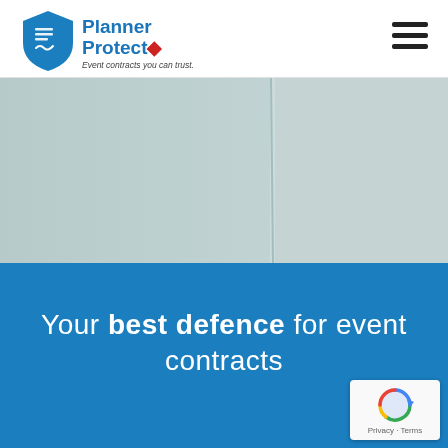[Figure (logo): Planner Protect logo with shield icon and text 'Event contracts you can trust.']
[Figure (photo): Hero image showing light blue/grey draped fabric or table linens]
Your best defence for event contracts
[Figure (other): Google reCAPTCHA badge with Privacy and Terms links]